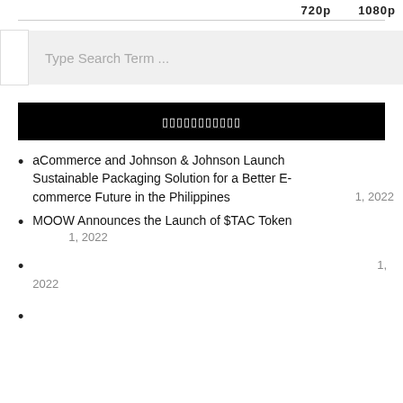720p    1080p
Type Search Term ...
▯▯▯▯▯▯▯▯▯▯▯
aCommerce and Johnson & Johnson Launch Sustainable Packaging Solution for a Better E-commerce Future in the Philippines    1, 2022
MOOW Announces the Launch of $TAC Token    1, 2022
1, 2022